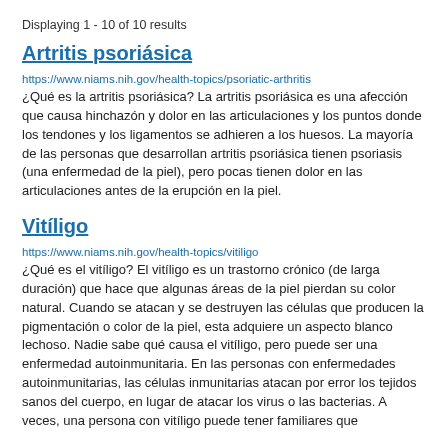Displaying 1 - 10 of 10 results
Artritis psoriásica
https://www.niams.nih.gov/health-topics/psoriatic-arthritis
¿Qué es la artritis psoriásica? La artritis psoriásica es una afección que causa hinchazón y dolor en las articulaciones y los puntos donde los tendones y los ligamentos se adhieren a los huesos. La mayoría de las personas que desarrollan artritis psoriásica tienen psoriasis (una enfermedad de la piel), pero pocas tienen dolor en las articulaciones antes de la erupción en la piel.
Vitíligo
https://www.niams.nih.gov/health-topics/vitiligo
¿Qué es el vitíligo? El vitíligo es un trastorno crónico (de larga duración) que hace que algunas áreas de la piel pierdan su color natural. Cuando se atacan y se destruyen las células que producen la pigmentación o color de la piel, esta adquiere un aspecto blanco lechoso. Nadie sabe qué causa el vitíligo, pero puede ser una enfermedad autoinmunitaria. En las personas con enfermedades autoinmunitarias, las células inmunitarias atacan por error los tejidos sanos del cuerpo, en lugar de atacar los virus o las bacterias. A veces, una persona con vitíligo puede tener familiares que